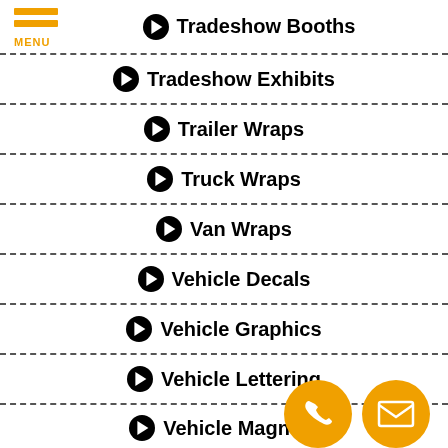[Figure (logo): Hamburger menu icon with three orange bars and MENU label]
Tradeshow Booths
Tradeshow Exhibits
Trailer Wraps
Truck Wraps
Van Wraps
Vehicle Decals
Vehicle Graphics
Vehicle Lettering
Vehicle Magnets
[Figure (infographic): Orange circle phone contact button]
[Figure (infographic): Orange circle email contact button]